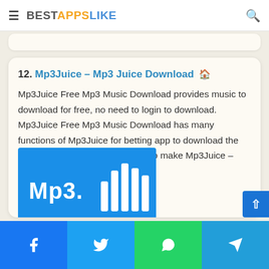BESTAPPSLIKE
12. Mp3Juice – Mp3 Juice Download
Mp3Juice Free Mp3 Music Download provides music to download for free, no need to login to download. Mp3Juice Free Mp3 Music Download has many functions of Mp3Juice for betting app to download the song. Our team is working hard to make Mp3Juice – Free Mp3 Juice Downloader
[Figure (screenshot): Mp3Juice app screenshot showing blue background with Mp3 text and audio bars graphic]
Facebook | Twitter | WhatsApp | Telegram social share bar